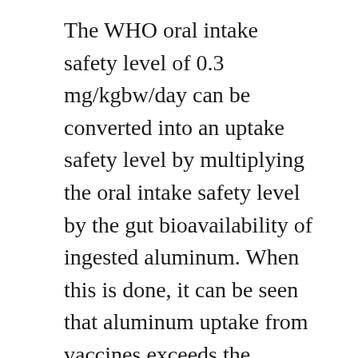The WHO oral intake safety level of 0.3 mg/kgbw/day can be converted into an uptake safety level by multiplying the oral intake safety level by the gut bioavailability of ingested aluminum. When this is done, it can be seen that aluminum uptake from vaccines exceeds the implied WHO uptake safety level, as I demonstrated here.
The only evidence cited by the CDC that the amount of aluminum in infant vaccines is safe is a pharmacokinetic model (Mitkus, 2011) which has many critical errors and weaknesses; I wrote about one of them here.
No b...